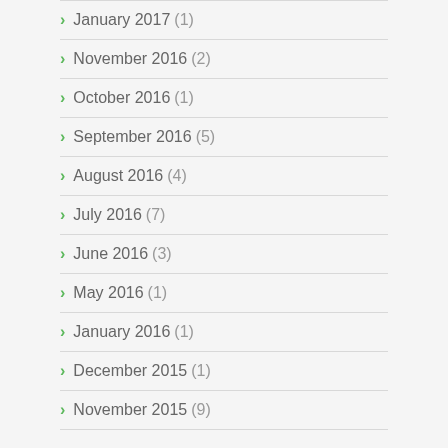January 2017 (1)
November 2016 (2)
October 2016 (1)
September 2016 (5)
August 2016 (4)
July 2016 (7)
June 2016 (3)
May 2016 (1)
January 2016 (1)
December 2015 (1)
November 2015 (9)